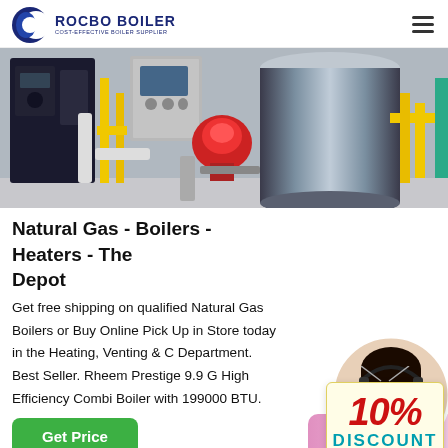[Figure (logo): Rocbo Boiler logo - blue crescent/wave icon with company name ROCBO BOILER and tagline COST-EFFECTIVE BOILER SUPPLIER]
[Figure (photo): Industrial boiler room with large cylindrical boiler tanks, yellow pipes, red burner unit, and control panels on a factory floor]
Natural Gas - Boilers - Heaters - The Depot
[Figure (infographic): 10% DISCOUNT badge in red and teal on cream colored tag shape]
Get free shipping on qualified Natural Gas Boilers or Buy Online Pick Up in Store today in the Heating, Venting & C Department. Best Seller. Rheem Prestige 9.9 G High Efficiency Combi Boiler with 199000 BTU.
[Figure (photo): Customer service representative woman wearing a headset, smiling]
[Figure (infographic): ENQA Online partial banner at bottom right in pink/mauve gradient]